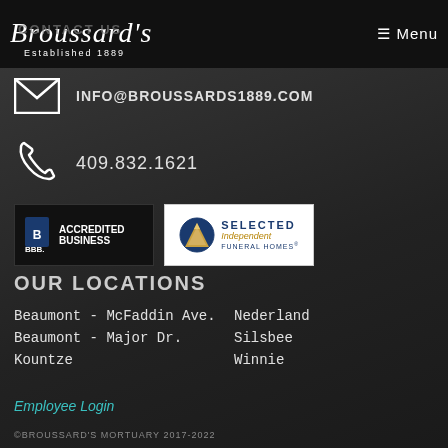CONTACT US | Broussard's Established 1889 | ≡ Menu
INFO@BROUSSARDS1889.COM
409.832.1621
[Figure (logo): BBB Accredited Business badge and Selected Independent Funeral Homes badge]
OUR LOCATIONS
Beaumont - McFaddin Ave.
Nederland
Beaumont - Major Dr.
Silsbee
Kountze
Winnie
Employee Login
©BROUSSARD'S MORTUARY 2017-2022